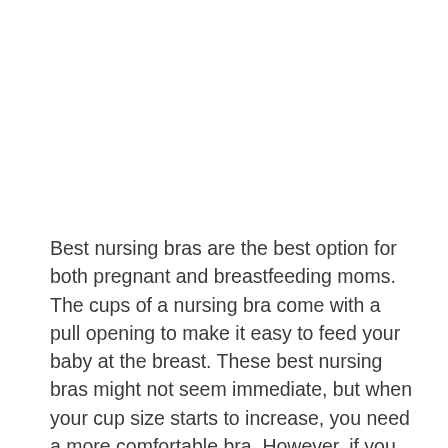Best nursing bras are the best option for both pregnant and breastfeeding moms. The cups of a nursing bra come with a pull opening to make it easy to feed your baby at the breast. These best nursing bras might not seem immediate, but when your cup size starts to increase, you need a more comfortable bra. However, if you do not want to buy multiple bras throughout your pregnancy, you have an option for maternity bras that you can wear pre, during, and post-breastfeeding. Experts recommend that you have different types of